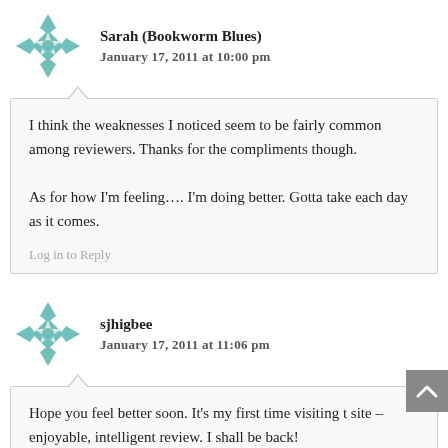Sarah (Bookworm Blues)
January 17, 2011 at 10:00 pm
I think the weaknesses I noticed seem to be fairly common among reviewers. Thanks for the compliments though.

As for how I'm feeling…. I'm doing better. Gotta take each day as it comes.
Log in to Reply
sjhigbee
January 17, 2011 at 11:06 pm
Hope you feel better soon. It's my first time visiting t site – enjoyable, intelligent review. I shall be back!
Log in to Reply